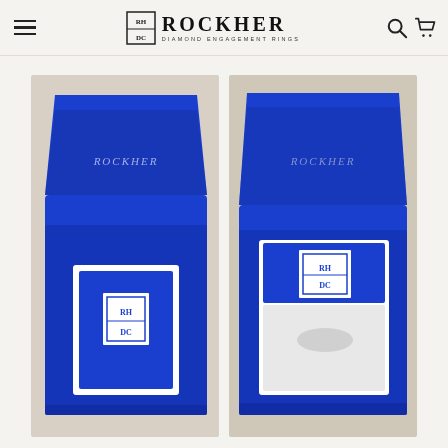RockHer Diamond Engagement Rings — navigation header with hamburger menu, logo, search and cart icons
[Figure (photo): Blue Rockher magnetic gift box open showing a white-framed ring box with Rockher logo inside, photographed from above on a light surface]
[Figure (photo): Blue Rockher magnetic gift box open with the inner ring box partially open showing white interior, Rockher logo on lid, photographed from above on a light surface]